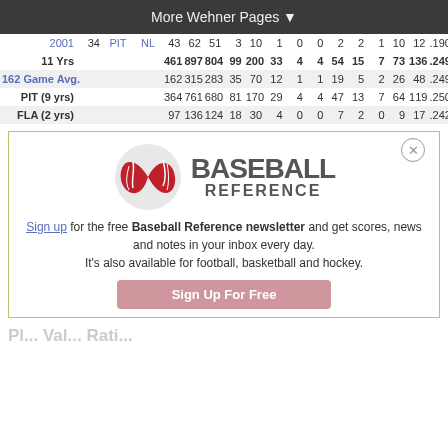More Wehner Pages ▼
| Year | Age | Tm | Lg | G | AB | R | H | 2B | 3B | HR | RBI | SB | CS | BB | SO | BA |
| --- | --- | --- | --- | --- | --- | --- | --- | --- | --- | --- | --- | --- | --- | --- | --- | --- |
| 2001 | 34 | PIT | NL | 43 | 62 | 51 | 3 | 10 | 1 | 0 | 0 | 2 | 2 | 1 | 10 | 12 | .190 |
| 11 Yrs |  |  |  | 461 | 897 | 804 | 99 | 200 | 33 | 4 | 4 | 54 | 15 | 7 | 73 | 136 | .249 |
| 162 Game Avg. |  |  |  | 162 | 315 | 283 | 35 | 70 | 12 | 1 | 1 | 19 | 5 | 2 | 26 | 48 | .249 |
| PIT (9 yrs) |  |  |  | 364 | 761 | 680 | 81 | 170 | 29 | 4 | 4 | 47 | 13 | 7 | 64 | 119 | .250 |
| FLA (2 yrs) |  |  |  | 97 | 136 | 124 | 18 | 30 | 4 | 0 | 0 | 7 | 2 | 0 | 9 | 17 | .242 |
[Figure (logo): Baseball Reference logo with baseball graphic and brand name]
Sign up for the free Baseball Reference newsletter and get scores, news and notes in your inbox every day. It's also available for football, basketball and hockey.
Sign Up For Free